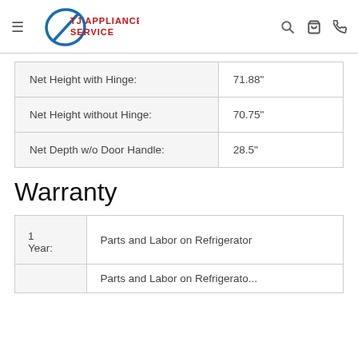TJ Appliance Service
|  |  |
| --- | --- |
| Net Height with Hinge: | 71.88" |
| Net Height without Hinge: | 70.75" |
| Net Depth w/o Door Handle: | 28.5" |
Warranty
|  |  |
| --- | --- |
| 1 Year: | Parts and Labor on Refrigerator |
|  | Parts and Labor on Refrigerato... |